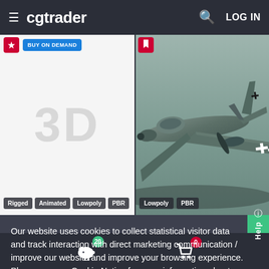cgtrader  LOG IN
[Figure (screenshot): Left product card showing '3D' text placeholder with tags: Rigged, Animated, Lowpoly, PBR. Has a blue 'BUY ON DEMAND' button and red bookmark icon.]
[Figure (screenshot): Right product card showing a 3D model of a WWII German airplane (Heinkel He 111 or similar) with Lowpoly and PBR tags. Has a red bookmark icon.]
Our website uses cookies to collect statistical visitor data and track interaction with direct marketing communication / improve our website and improve your browsing experience. Please see our Cookie Notice for more information about cookies, data they collect, who may access them, and your rights. Learn more
Accept
20  0